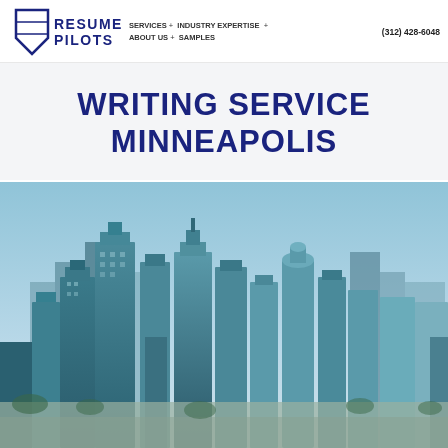SERVICES + INDUSTRY EXPERTISE + ABOUT US + SAMPLES (312) 428-6048 RESUME PILOTS
WRITING SERVICE MINNEAPOLIS
[Figure (photo): Aerial photograph of Minneapolis city skyline with tall glass skyscrapers under a light blue sky]